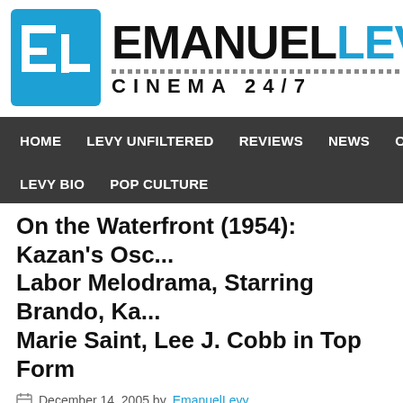[Figure (logo): Emanuel Levy Cinema 24/7 website logo with blue EL icon and black/blue text]
HOME   LEVY UNFILTERED   REVIEWS   NEWS   OSCA...   LEVY BIO   POP CULTURE
On the Waterfront (1954): Kazan's Oscar-winning Labor Melodrama, Starring Brando, Ka... Marie Saint, Lee J. Cobb in Top Form
December 14, 2005 by EmanuelLevy
Political corruption within labor unions was the topic of On the Waterfront..., winning picture, which features one of Marlon Brando's two or three grea...